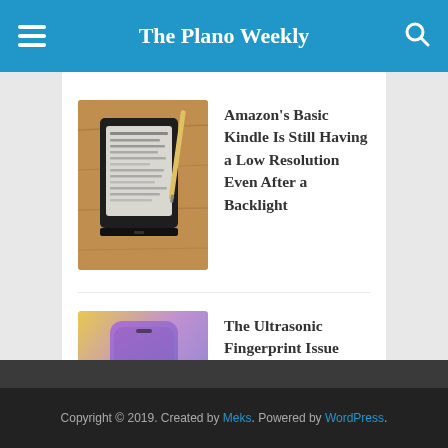The Plano Weekly
[Figure (photo): A Kindle e-reader device placed on a wooden surface]
Amazon's Basic Kindle Is Still Having a Low Resolution Even After a Backlight
[Figure (photo): A hand holding a Samsung Galaxy S10 smartphone with finger on fingerprint sensor]
The Ultrasonic Fingerprint Issue Solved In Galaxy S10
Copyright © 2019. Created by Meks. Powered by WordPress.